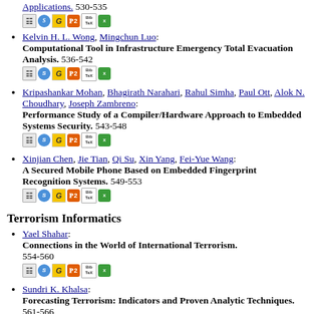Kelvin H. L. Wong, Mingchun Luo: Computational Tool in Infrastructure Emergency Total Evacuation Analysis. 536-542
Kripashankar Mohan, Bhagirath Narahari, Rahul Simha, Paul Ott, Alok N. Choudhary, Joseph Zambreno: Performance Study of a Compiler/Hardware Approach to Embedded Systems Security. 543-548
Xinjian Chen, Jie Tian, Qi Su, Xin Yang, Fei-Yue Wang: A Secured Mobile Phone Based on Embedded Fingerprint Recognition Systems. 549-553
Terrorism Informatics
Yael Shahar: Connections in the World of International Terrorism. 554-560
Sundri K. Khalsa: Forecasting Terrorism: Indicators and Proven Analytic Techniques. 561-566